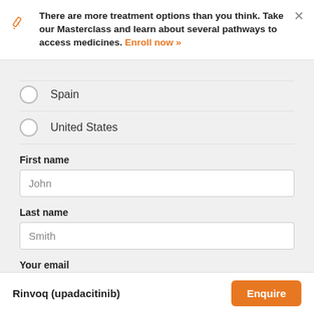There are more treatment options than you think. Take our Masterclass and learn about several pathways to access medicines. Enroll now »
Spain
United States
First name
John
Last name
Smith
Your email
name@email.com
Rinvoq (upadacitinib)   Enquire